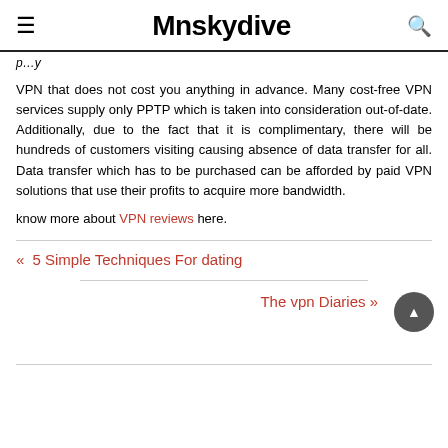Mnskydive
VPN that does not cost you anything in advance. Many cost-free VPN services supply only PPTP which is taken into consideration out-of-date. Additionally, due to the fact that it is complimentary, there will be hundreds of customers visiting causing absence of data transfer for all. Data transfer which has to be purchased can be afforded by paid VPN solutions that use their profits to acquire more bandwidth.
know more about VPN reviews here.
« 5 Simple Techniques For dating
The vpn Diaries »